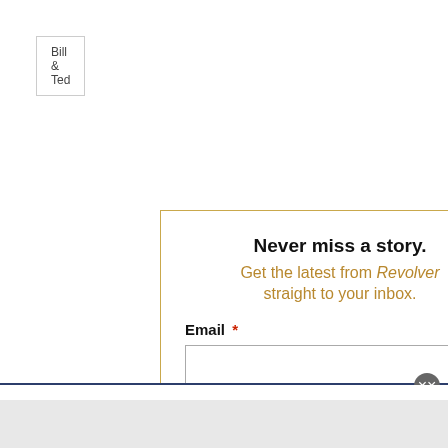Bill & Ted
Never miss a story.
Get the latest from Revolver straight to your inbox.
Email *
SUBMIT